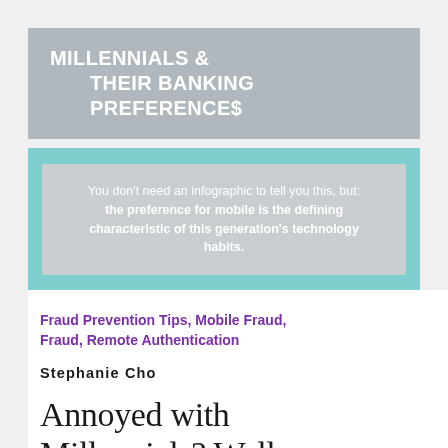MILLENNIALS & THEIR BANKING PREFERENCES
You don't need an infographic to tell you this, but: the preference for mobile is the defining characteristic of this generation's technology habits.
Fraud Prevention Tips, Mobile Fraud, Fraud, Remote Authentication
Stephanie Cho
Annoyed with Millennials? Well